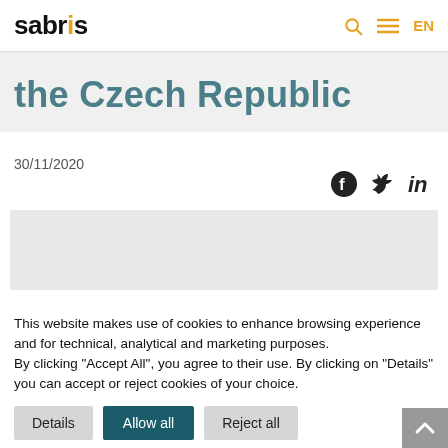sabris EN
the Czech Republic
30/11/2020
[Figure (illustration): Social share icons: Facebook, Twitter, LinkedIn]
[Figure (photo): Grey image placeholder area]
This website makes use of cookies to enhance browsing experience and for technical, analytical and marketing purposes.
By clicking "Accept All", you agree to their use. By clicking on "Details" you can accept or reject cookies of your choice.
Details | Allow all | Reject all